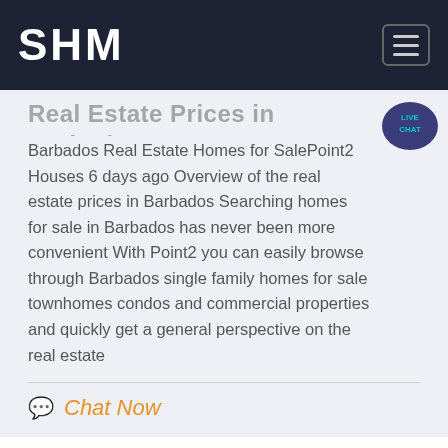SHM
Real Estate Prices in Barbados
Barbados Real Estate Homes for SalePoint2 Houses 6 days ago Overview of the real estate prices in Barbados Searching homes for sale in Barbados has never been more convenient With Point2 you can easily browse through Barbados single family homes for sale townhomes condos and commercial properties and quickly get a general perspective on the real estate
Chat Now
Get a Quote
WhatsApp